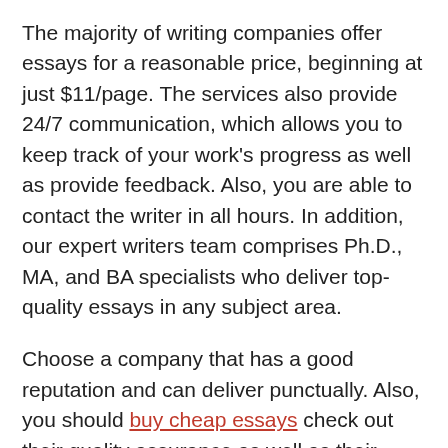The majority of writing companies offer essays for a reasonable price, beginning at just $11/page. The services also provide 24/7 communication, which allows you to keep track of your work's progress as well as provide feedback. Also, you are able to contact the writer in all hours. In addition, our expert writers team comprises Ph.D., MA, and BA specialists who deliver top-quality essays in any subject area.
Choose a company that has a good reputation and can deliver punctually. Also, you should buy cheap essays check out their quality assurance as well as their cash return policies. If you are unhappy with their service, they can provide an entire refund in the event that you don't like the service they offer. It's a good option. Do not let the writer take advantage the money you pay! When you work with a professional